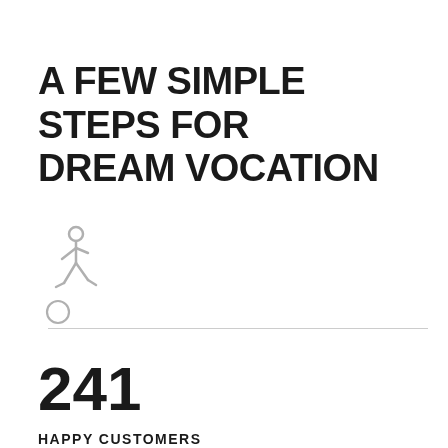A FEW SIMPLE STEPS FOR DREAM VOCATION
[Figure (illustration): Walking person stick figure icon in light gray]
[Figure (illustration): Small circle icon in light gray]
241
HAPPY CUSTOMERS